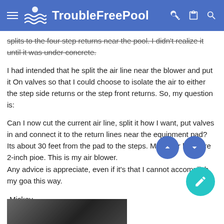TroubleFreePool
splits to the four step returns near the pool. I didn't realize it until it was under concrete.
I had intended that he split the air line near the blower and put it On valves so that I could choose to isolate the air to either the step side returns or the step front returns. So, my question is:
Can I now cut the current air line, split it how I want, put valves in and connect it to the return lines near the equipment pad? Its about 30 feet from the pad to the steps. My water lines are 2-inch pioe. This is my air blower.
Any advice is appreciate, even if it's that I cannot accomplish my goa this way.
-Mickey
[Figure (photo): Partial bottom image showing a dark photo thumbnail]